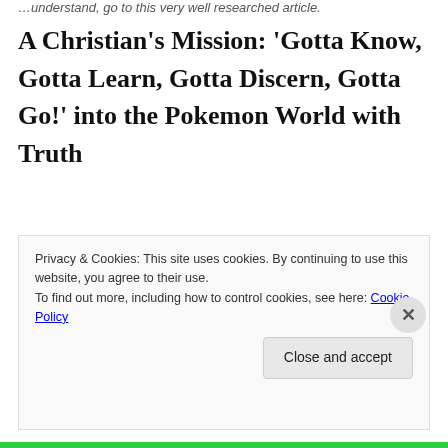…understand, go to this very well researched article.
A Christian’s Mission: ‘Gotta Know, Gotta Learn, Gotta Discern, Gotta Go!’ into the Pokemon World with Truth
Remember, to play Pokémon correctly, children need to not only know, but understand the “power” inside each Pocket Monster. (Note: After 20 years, there are now over 750 of these creatures!) What are some of the powers
Privacy & Cookies: This site uses cookies. By continuing to use this website, you agree to their use.
To find out more, including how to control cookies, see here: Cookie Policy